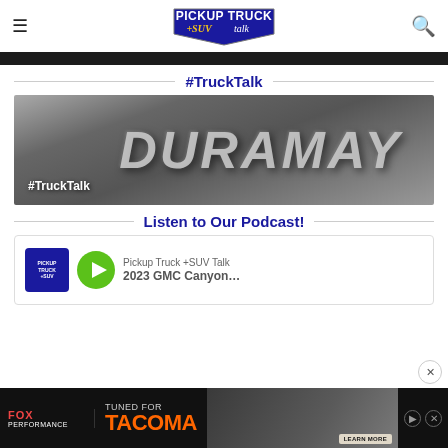Pickup Truck +SUV Talk
[Figure (photo): Dark horizontal banner strip at top of content area]
#TruckTalk
[Figure (photo): Close-up photo of Duramax chrome badge lettering on dark background with #TruckTalk overlay text]
Listen to Our Podcast!
[Figure (screenshot): Podcast player widget showing Pickup Truck +SUV Talk logo, green play button, with episode title '2023 GMC Canyon']
[Figure (photo): Advertisement banner: Fox Performance - Tuned for Tacoma with orange text, truck image, and Learn More button]